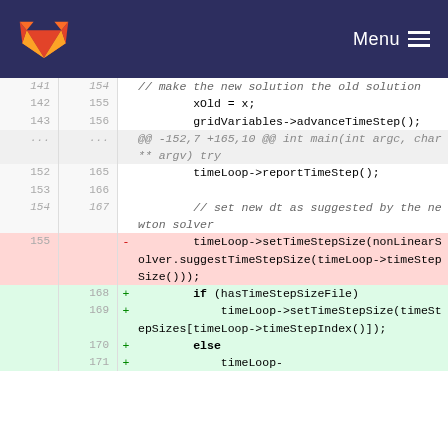GitLab — Menu
141  154      // make the new solution the old solution
142  155          xOld = x;
143  156          gridVariables->advanceTimeStep();
...  ...  @@ -152,7 +165,10 @@ int main(int argc, char** argv) try
152  165          timeLoop->reportTimeStep();
153  166
154  167          // set new dt as suggested by the newton solver
155       -        timeLoop->setTimeStepSize(nonLinearSolver.suggestTimeStepSize(timeLoop->timeStepSize()));
     168  +        if (hasTimeStepSizeFile)
     169  +            timeLoop->setTimeStepSize(timeStepSizes[timeLoop->timeStepIndex()]);
     170  +        else
     171  +            timeLoop-